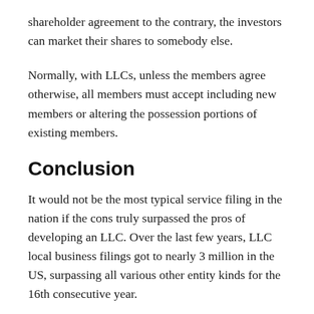shareholder agreement to the contrary, the investors can market their shares to somebody else.
Normally, with LLCs, unless the members agree otherwise, all members must accept including new members or altering the possession portions of existing members.
Conclusion
It would not be the most typical service filing in the nation if the cons truly surpassed the pros of developing an LLC. Over the last few years, LLC local business filings got to nearly 3 million in the US, surpassing all various other entity kinds for the 16th consecutive year.